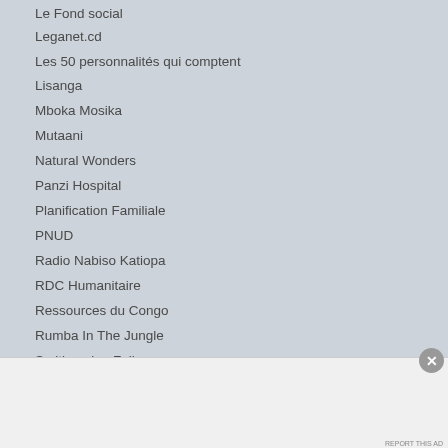Le Fond social
Leganet.cd
Les 50 personnalités qui comptent
Lisanga
Mboka Mosika
Mutaani
Natural Wonders
Panzi Hospital
Planification Familiale
PNUD
Radio Nabiso Katiopa
RDC Humanitaire
Ressources du Congo
Rumba In The Jungle
Smithsonian Folkways
Advertisements
[Figure (screenshot): DuckDuckGo advertisement banner: 'Search, browse, and email with more privacy. All in One Free App' on orange background with DuckDuckGo logo on dark background]